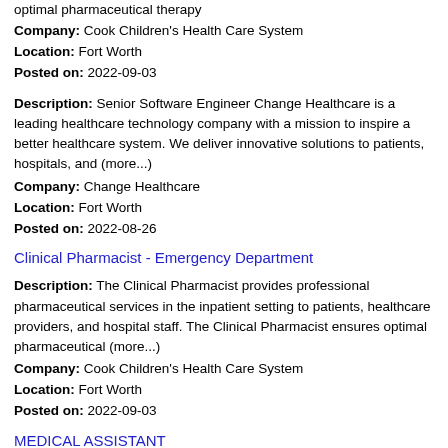optimal pharmaceutical therapy
Company: Cook Children's Health Care System
Location: Fort Worth
Posted on: 2022-09-03
Senior Software Engineer
Description: Senior Software Engineer Change Healthcare is a leading healthcare technology company with a mission to inspire a better healthcare system. We deliver innovative solutions to patients, hospitals, and (more...)
Company: Change Healthcare
Location: Fort Worth
Posted on: 2022-08-26
Clinical Pharmacist - Emergency Department
Description: The Clinical Pharmacist provides professional pharmaceutical services in the inpatient setting to patients, healthcare providers, and hospital staff. The Clinical Pharmacist ensures optimal pharmaceutical (more...)
Company: Cook Children's Health Care System
Location: Fort Worth
Posted on: 2022-09-03
MEDICAL ASSISTANT
Description: Cardiovascular Provider Resources has an excellent full time employment opportunity, with benefits, for an experienced Medical Assistant to work in the South Arlington HeartPlace Clinic, may provide coverage (more...)